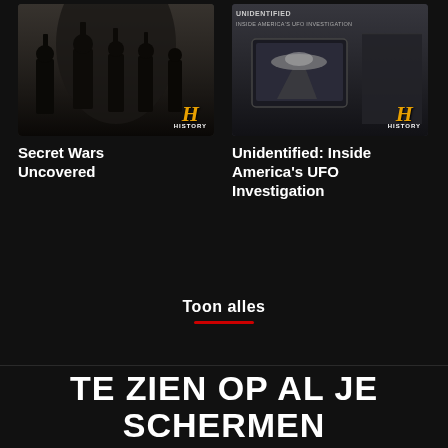[Figure (photo): Thumbnail of Secret Wars Uncovered TV show showing soldiers silhouettes with HISTORY channel logo]
[Figure (photo): Thumbnail of Unidentified: Inside America's UFO Investigation with HISTORY channel logo]
Secret Wars Uncovered
Unidentified: Inside America's UFO Investigation
Toon alles
TE ZIEN OP AL JE SCHERMEN